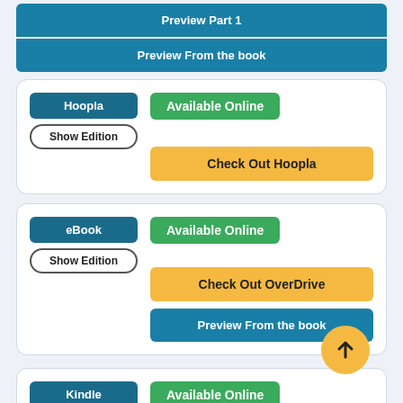[Figure (screenshot): Top teal buttons: Preview Part 1, Preview From the book]
Hoopla
Show Edition
Available Online
Check Out Hoopla
eBook
Show Edition
Available Online
Check Out OverDrive
Preview From the book
Kindle
Show Edition
Available Online